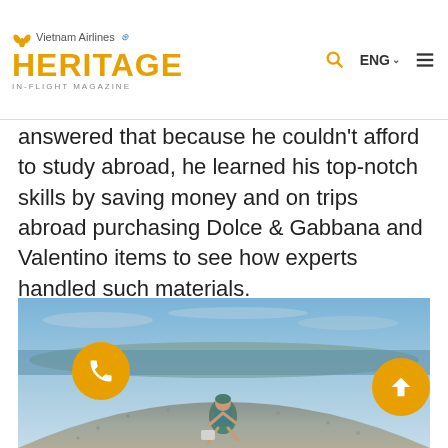Vietnam Airlines Heritage In-Flight Magazine
answered that because he couldn't afford to study abroad, he learned his top-notch skills by saving money and on trips abroad purchasing Dolce & Gabbana and Valentino items to see how experts handled such materials.
[Figure (photo): A person in a colorful dress sitting on a rocky, sandy hillside with a wide ocean and blue sky horizon in the background. The photo is taken with a wide-angle fisheye-style lens.]